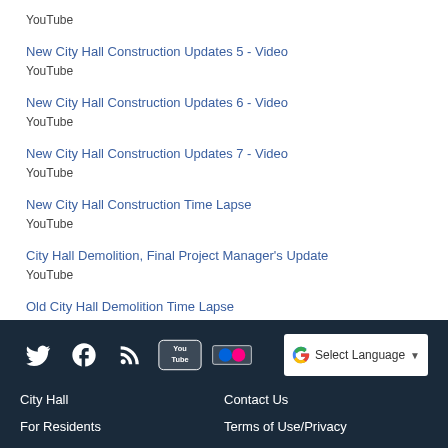YouTube
New City Hall Construction Updates 5 - Video
YouTube
New City Hall Construction Updates 6 - Video
YouTube
New City Hall Construction Updates 7 - Video
YouTube
New City Hall Construction Time Lapse
YouTube
City Hall Demolition, Final Project Manager's Update
YouTube
Old City Hall Demolition Time Lapse
YouTube
City Hall | For Residents | Contact Us | Terms of Use/Privacy